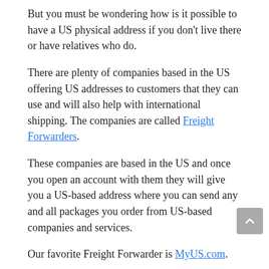But you must be wondering how is it possible to have a US physical address if you don’t live there or have relatives who do.
There are plenty of companies based in the US offering US addresses to customers that they can use and will also help with international shipping. The companies are called Freight Forwarders.
These companies are based in the US and once you open an account with them they will give you a US-based address where you can send any and all packages you order from US-based companies and services.
Our favorite Freight Forwarder is MyUS.com.
MyUS.com ships to all the cities in Cambodia such